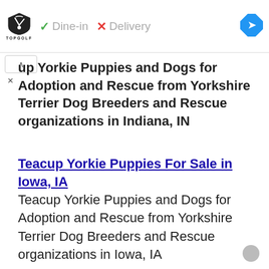[Figure (other): TopGolf advertisement banner with Dine-in checkmark and Delivery X mark, plus blue navigation diamond icon]
up Yorkie Puppies and Dogs for Adoption and Rescue from Yorkshire Terrier Dog Breeders and Rescue organizations in Indiana, IN
Teacup Yorkie Puppies For Sale in Iowa, IA
Teacup Yorkie Puppies and Dogs for Adoption and Rescue from Yorkshire Terrier Dog Breeders and Rescue organizations in Iowa, IA